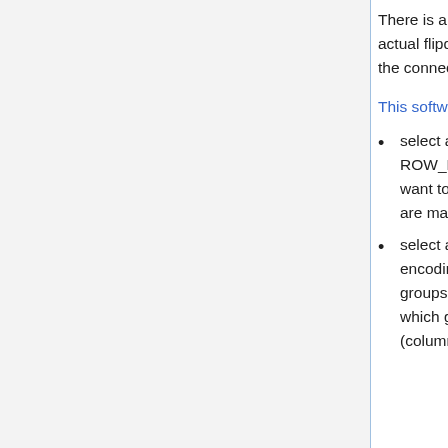There is a 50-wire cable going from the control board to the actual flipdot-boards. The image on the left shows the pinout of the connector.
This software drives a pixel like this:
select a row by making one ROW signal high: choose ROW_H_x if you want to set a pixel, or ROW_L_x if you want to clear a pixel. The rest of the ROW_H/ROW_L lines are made low.
select a column through the COL_ADDR_x pins. The encoding is a bit tricky: a panel of 28 pixels wide has 4 groups of 7 columns each. Pins COL_ADDR_A3/A4 control which group to select, pins COL_ADDR_A0-A2 select (column+1) within the group.